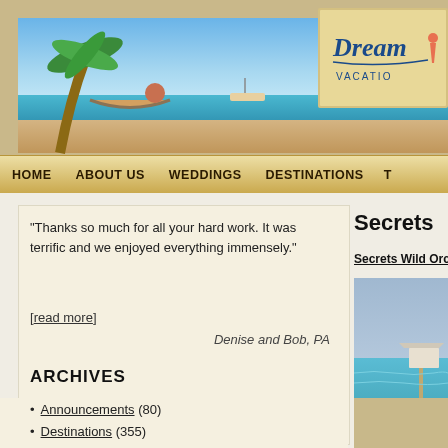[Figure (photo): Beach scene with person in hammock under palm tree, turquoise water, boat in background]
[Figure (logo): Dream Vacations logo card on tan background with cursive text and VACATION below]
HOME   ABOUT US   WEDDINGS   DESTINATIONS   T
"Thanks so much for all your hard work. It was terrific and we enjoyed everything immensely."
[read more]
Denise and Bob, PA
ARCHIVES
Announcements (80)
Destinations (355)
Antigua (3)
Bahamas (36)
Belize (2)
Secrets
Secrets Wild Orchid a
[Figure (photo): Resort beach scene with gazebo/pier structure and turquoise water]